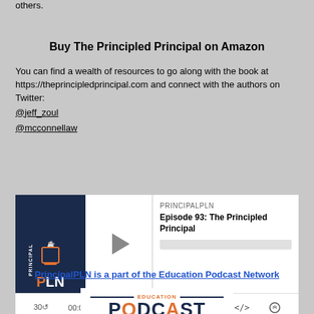others.
Buy The Principled Principal on Amazon
You can find a wealth of resources to go along with the book at https://theprincipledprincipal.com and connect with the authors on Twitter:
@jeff_zoul
@mcconnellaw
[Figure (screenshot): Podcast widget for PrincipalPLN Episode 93: The Principled Principal with play button, progress bar, and playback controls (30 back, 00:00:00 timestamp, forward 30, RSS, download, embed, and headphones icons)]
PrincipalPLN is a part of the Education Podcast Network
[Figure (logo): Education Podcast Network logo showing EDUCATION in orange above PODCAST in large dark navy bold letters]